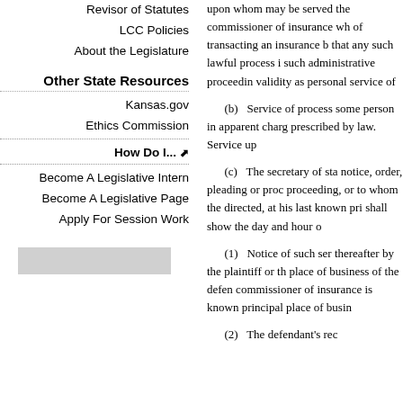Revisor of Statutes
LCC Policies
About the Legislature
Other State Resources
Kansas.gov
Ethics Commission
How Do I...
Become A Legislative Intern
Become A Legislative Page
Apply For Session Work
upon whom may be served the commissioner of insurance wh of transacting an insurance b that any such lawful process i such administrative proceedir validity as personal service of
(b) Service of process some person in apparent char prescribed by law. Service up
(c) The secretary of sta notice, order, pleading or pro proceeding, or to whom the directed, at his last known pr shall show the day and hour o
(1) Notice of such ser thereafter by the plaintiff or th place of business of the defe commissioner of insurance is known principal place of busi
(2) The defendant's re